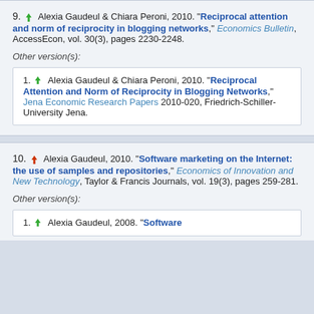9. Alexia Gaudeul & Chiara Peroni, 2010. "Reciprocal attention and norm of reciprocity in blogging networks," Economics Bulletin, AccessEcon, vol. 30(3), pages 2230-2248.
Other version(s):
1. Alexia Gaudeul & Chiara Peroni, 2010. "Reciprocal Attention and Norm of Reciprocity in Blogging Networks," Jena Economic Research Papers 2010-020, Friedrich-Schiller-University Jena.
10. Alexia Gaudeul, 2010. "Software marketing on the Internet: the use of samples and repositories," Economics of Innovation and New Technology, Taylor & Francis Journals, vol. 19(3), pages 259-281.
Other version(s):
1. Alexia Gaudeul, 2008. "Software